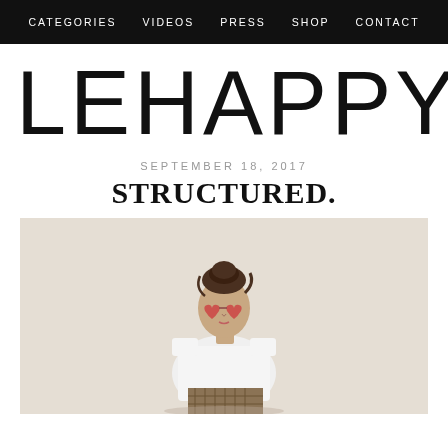CATEGORIES   VIDEOS   PRESS   SHOP   CONTACT
LEHAPPY
SEPTEMBER 18, 2017
STRUCTURED.
[Figure (photo): Young woman with hair up, wearing heart-shaped red sunglasses, white sleeveless structured top, and plaid trousers, sitting against a light beige background]